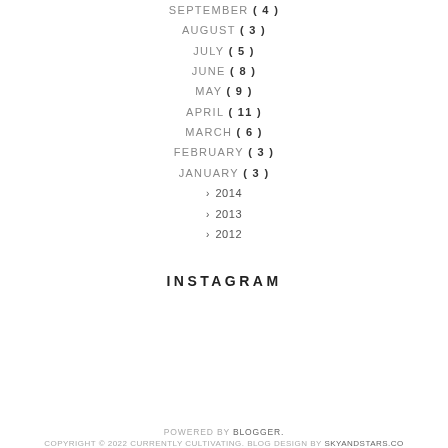SEPTEMBER ( 4 )
AUGUST ( 3 )
JULY ( 5 )
JUNE ( 8 )
MAY ( 9 )
APRIL ( 11 )
MARCH ( 6 )
FEBRUARY ( 3 )
JANUARY ( 3 )
> 2014
> 2013
> 2012
INSTAGRAM
POWERED BY BLOGGER. COPYRIGHT © 2022 CURRENTLY CULTIVATING. BLOG DESIGN BY SKYANDSTARS.CO